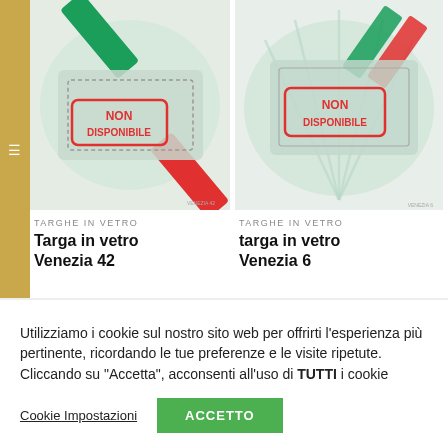[Figure (photo): Glass plaque product photo - Targa in vetro Venezia 42, with Italian flag colors and NON DISPONIBILE stamp overlay]
TARGHE IN VETRO
Targa in vetro Venezia 42
[Figure (photo): Glass plaque product photo - targa in vetro Venezia 6, with Italian flag colors and NON DISPONIBILE stamp overlay]
TARGHE IN VETRO
targa in vetro Venezia 6
Utilizziamo i cookie sul nostro sito web per offrirti l'esperienza più pertinente, ricordando le tue preferenze e le visite ripetute. Cliccando su "Accetta", acconsenti all'uso di TUTTI i cookie
Cookie Impostazioni
ACCETTO